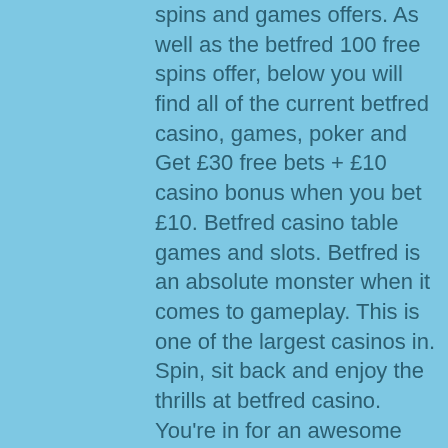spins and games offers. As well as the betfred 100 free spins offer, below you will find all of the current betfred casino, games, poker and Get £30 free bets + £10 casino bonus when you bet £10. Betfred casino table games and slots. Betfred is an absolute monster when it comes to gameplay. This is one of the largest casinos in. Spin, sit back and enjoy the thrills at betfred casino. You're in for an awesome free spins treat on selected slot machines when you sign up to betfred. £10 min transfer and stake on slots at betfred casino within 7 days of registration. Minimum 5 game rounds. Experience more from our online casino, live casino, poker &amp; slots at virgin games. Enjoy exclusive virgin giveaways &amp; promotions (t&amp;cs apply). Grab 100 no wagering spins when you spend £10 at uk licensed casino, betfred! top slots offers  big money jackpots  new games  exclusive deals! £10 min transfer and stake on slots at